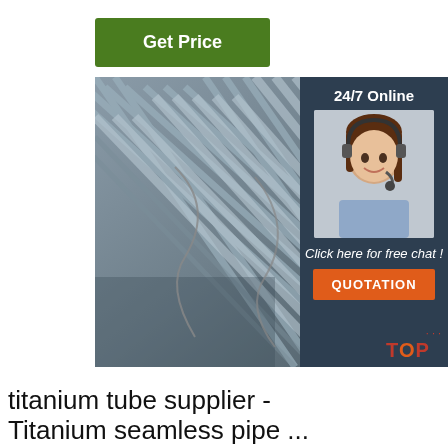Get Price
[Figure (photo): Stack of grey steel/titanium rebar rods bundled together, viewed from the front at an angle, with shadows visible. An overlay panel on the right shows a customer service agent with headset, '24/7 Online' label, 'Click here for free chat!' text, and an orange 'QUOTATION' button. A red 'TOP' badge appears at the bottom right.]
titanium tube supplier - Titanium seamless pipe ...